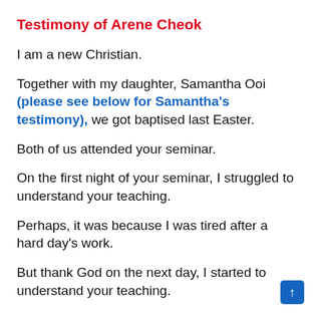Testimony of Arene Cheok
I am a new Christian.
Together with my daughter, Samantha Ooi (please see below for Samantha's testimony), we got baptised last Easter.
Both of us attended your seminar.
On the first night of your seminar, I struggled to understand your teaching.
Perhaps, it was because I was tired after a hard day's work.
But thank God on the next day, I started to understand your teaching.